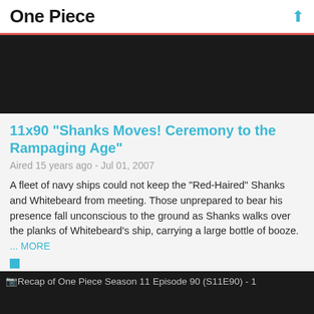One Piece
[Figure (screenshot): Dark video player placeholder at top of page]
11x90 "Shanks Moves! Ceremony to the Rampaging Age"
Aired 15 years ago - Jul 01, 2007
A fleet of navy ships could not keep the "Red-Haired" Shanks and Whitebeard from meeting. Those unprepared to bear his presence fall unconscious to the ground as Shanks walks over the planks of Whitebeard's ship, carrying a large bottle of booze.
... MORE
[Figure (screenshot): Recap of One Piece Season 11 Episode 90 (S11E90) - 1, dark video thumbnail]